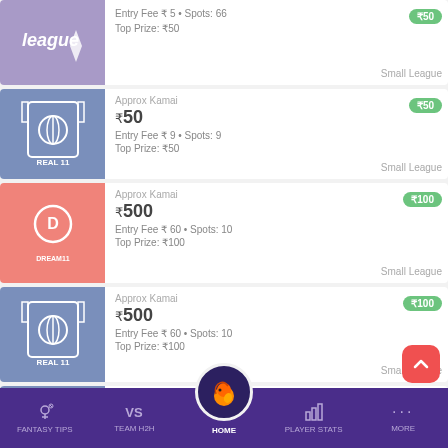[Figure (screenshot): Fantasy cricket app listing page showing league cards with entry fees, spots, top prizes, and approximate earnings badges. Bottom navigation bar with Fantasy Tips, Team H2H, Home, Player Stats, More.]
Entry Fee ₹ 5 • Spots: 66
Top Prize: ₹50  Small League
₹50  Approx Kamai  ₹50  Entry Fee ₹ 9 • Spots: 9  Top Prize: ₹50  Small League
₹500  Approx Kamai  ₹100  Entry Fee ₹ 60 • Spots: 10  Top Prize: ₹100  Small League
₹500  Approx Kamai  ₹100  Entry Fee ₹ 60 • Spots: 10  Top Prize: ₹100  Small League
₹300  Approx Kamai  ₹60  Entry Fee ₹ 33 • Spots: 10  Top Prize: ₹60  Small League
FANTASY TIPS  TEAM H2H  HOME  PLAYER STATS  MORE